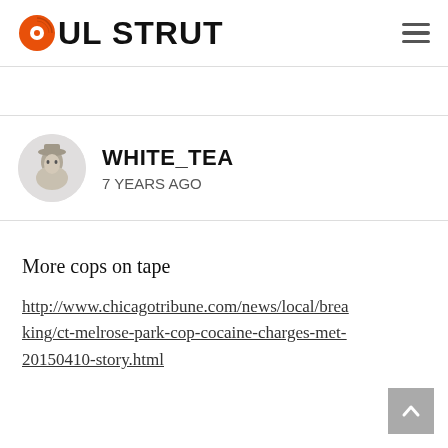SOUL STRUT
[Figure (illustration): User avatar showing a historical portrait illustration of a man wearing a hat, in a circular gray background]
WHITE_TEA
7 YEARS AGO
More cops on tape
http://www.chicagotribune.com/news/local/breaking/ct-melrose-park-cop-cocaine-charges-met-20150410-story.html